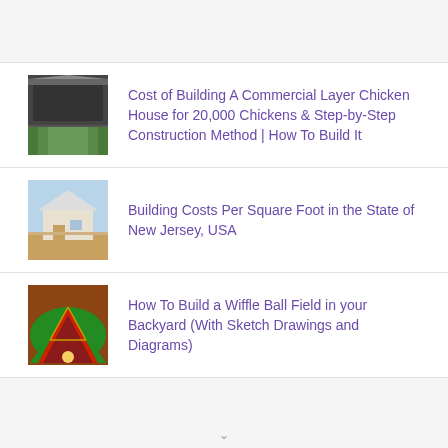Cost of Building A Commercial Layer Chicken House for 20,000 Chickens & Step-by-Step Construction Method | How To Build It
Building Costs Per Square Foot in the State of New Jersey, USA
How To Build a Wiffle Ball Field in your Backyard (With Sketch Drawings and Diagrams)